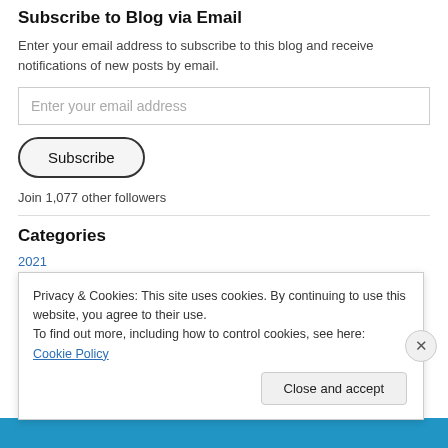Subscribe to Blog via Email
Enter your email address to subscribe to this blog and receive notifications of new posts by email.
Enter your email address
Subscribe
Join 1,077 other followers
Categories
2021
Privacy & Cookies: This site uses cookies. By continuing to use this website, you agree to their use.
To find out more, including how to control cookies, see here: Cookie Policy
Close and accept